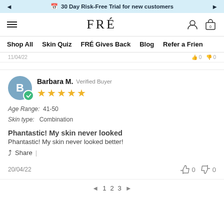◄  🗓 30 Day Risk-Free Trial for new customers  ►
FRÉ — navigation header with hamburger menu, logo, user and cart icons
Shop All  Skin Quiz  FRÉ Gives Back  Blog  Refer a Frien
11/04/22
Barbara M.  Verified Buyer
★★★★★
Age Range: 41-50
Skin type: Combination

Phantastic! My skin never looked
Phantastic! My skin never looked better!

↗ Share  |

20/04/22     👍 0  👎 0